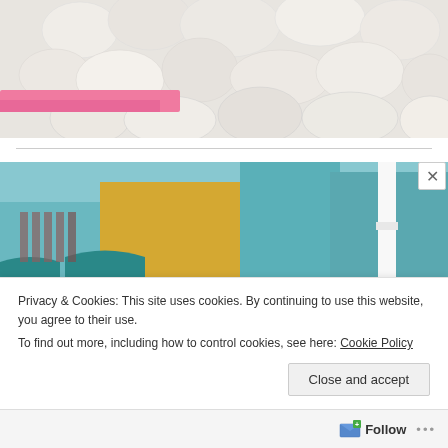[Figure (photo): Close-up photo of white/cream-colored smooth river rocks in a pink planter or container, top portion cropped]
[Figure (photo): Photo of colorful New Orleans-style architecture with teal, yellow, and pink buildings and white decorative columns, overlaid with a salmon/pink banner reading NEW ORLEANS TOP POSTS in white bold text]
Privacy & Cookies: This site uses cookies. By continuing to use this website, you agree to their use.
To find out more, including how to control cookies, see here: Cookie Policy
Close and accept
Follow